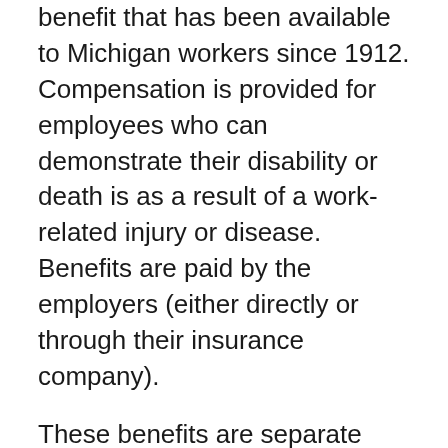benefit that has been available to Michigan workers since 1912. Compensation is provided for employees who can demonstrate their disability or death is as a result of a work-related injury or disease. Benefits are paid by the employers (either directly or through their insurance company).
These benefits are separate from unemployment compensation, hospital, health or accident insurance. The Department of Labor & Regulatory Affairs, Workers' Compensation Agency provides oversight for workers' disability compensation programs.
Private employers in Michigan who employ three or more workers at one time; or have regularly employed at least one worker for 35 hours or more per week for 13 weeks or longer during the last 52 weeks must have workers' disability compensation coverage, either as a self-insured or through an